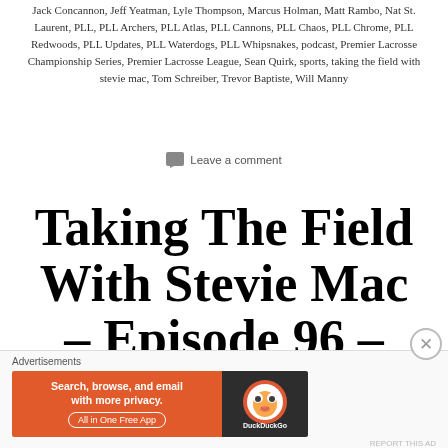Jack Concannon, Jeff Yeatman, Lyle Thompson, Marcus Holman, Matt Rambo, Nat St. Laurent, PLL, PLL Archers, PLL Atlas, PLL Cannons, PLL Chaos, PLL Chrome, PLL Redwoods, PLL Updates, PLL Waterdogs, PLL Whipsnakes, podcast, Premier Lacrosse Championship Series, Premier Lacrosse League, Sean Quirk, sports, taking the field with stevie mac, Tom Schreiber, Trevor Baptiste, Will Manny
Leave a comment
Taking The Field With Stevie Mac – Episode 96 – Premier Lacrosse
[Figure (other): DuckDuckGo advertisement banner: orange background with text 'Search, browse, and email with more privacy. All in One Free App' and DuckDuckGo logo on dark right panel]